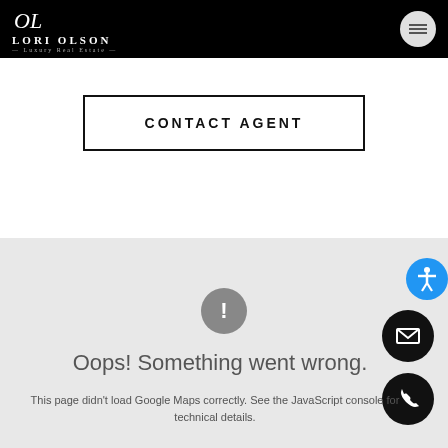Lori Olson Luxury Real Estate
CONTACT AGENT
[Figure (screenshot): Google Maps error area showing a gray map placeholder with an exclamation mark error icon and the message 'Oops! Something went wrong. This page didn't load Google Maps correctly. See the JavaScript console for technical details.']
Oops! Something went wrong.
This page didn't load Google Maps correctly. See the JavaScript console for technical details.